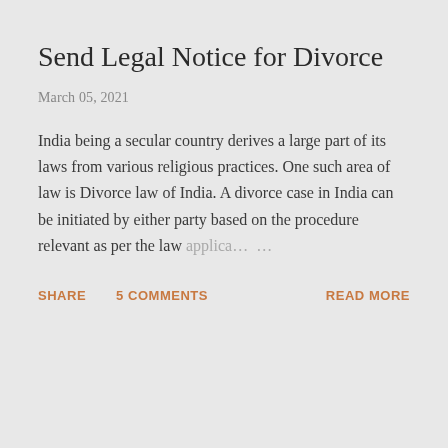Send Legal Notice for Divorce
March 05, 2021
India being a secular country derives a large part of its laws from various religious practices. One such area of law is Divorce law of India. A divorce case in India can be initiated by either party based on the procedure relevant as per the law applica… …
SHARE   5 COMMENTS   READ MORE